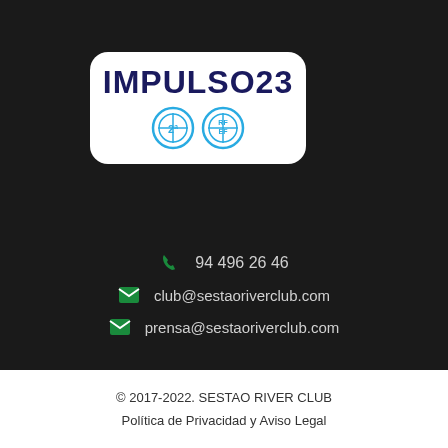[Figure (logo): IMPULSO23 logo with white rounded rectangle background, dark navy bold text reading IMPULSO23, and two circular badge icons below (2a division badge and RFEF badge)]
94 496 26 46
club@sestaoriverclub.com
prensa@sestaoriverclub.com
© 2017-2022. SESTAO RIVER CLUB
Política de Privacidad y Aviso Legal